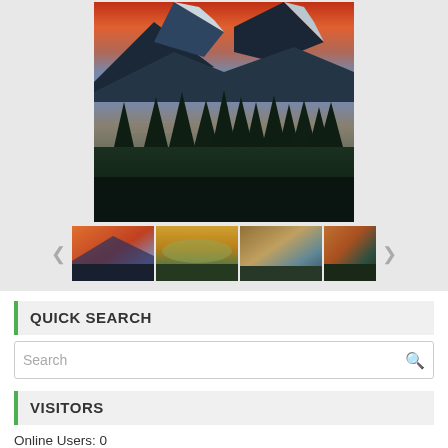[Figure (photo): Mountain lake landscape with snow-capped peaks, orange sunset sky, and evergreen trees in foreground. Below: thumbnail strip with 4 smaller nature photos and navigation arrows.]
QUICK SEARCH
Search
VISITORS
Online Users: 0
Today's Visits: 42
Today's Visitors: 34